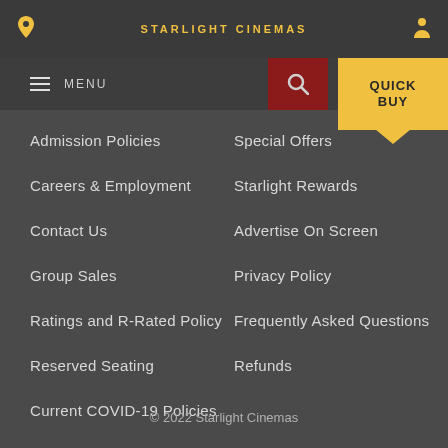STARLIGHT CINEMAS
Admission Policies
Special Offers
Careers & Employment
Starlight Rewards
Contact Us
Advertise On Screen
Group Sales
Privacy Policy
Ratings and R-Rated Policy
Frequently Asked Questions
Reserved Seating
Refunds
Current COVID-19 Policies
© 2022 Starlight Cinemas